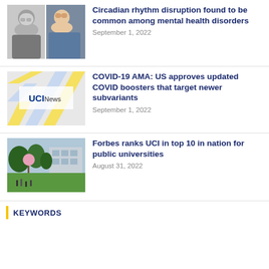[Figure (photo): Two headshot photos side by side: an older man in a suit (black and white) and a young woman in a blue top]
Circadian rhythm disruption found to be common among mental health disorders
September 1, 2022
[Figure (logo): UCI News branded image with diagonal yellow and blue stripes and UCI News text]
COVID-19 AMA: US approves updated COVID boosters that target newer subvariants
September 1, 2022
[Figure (photo): Outdoor campus photo showing green lawn, trees with pink blossoms, and a modern building in background]
Forbes ranks UCI in top 10 in nation for public universities
August 31, 2022
KEYWORDS